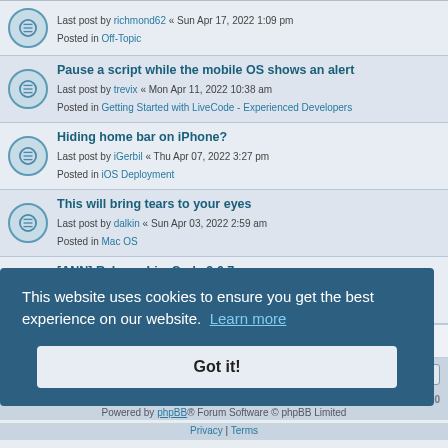Last post by richmond62 « Sun Apr 17, 2022 1:09 pm
Posted in Off-Topic
Pause a script while the mobile OS shows an alert
Last post by trevix « Mon Apr 11, 2022 10:38 am
Posted in Getting Started with LiveCode - Experienced Developers
Hiding home bar on iPhone?
Last post by iGerbil « Thu Apr 07, 2022 3:27 pm
Posted in iOS Deployment
This will bring tears to your eyes
Last post by dalkin « Sun Apr 03, 2022 2:59 am
Posted in Mac OS
[ANN] Release LiveCode 9.6.7
Last post by LiveCode_Panos « Fri Apr 01, 2022 3:13 pm
Posted in Announcements
Search found more than 1000 matches
This website uses cookies to ensure you get the best experience on our website. Learn more
Got it!
Board Index | Delete cookies | All times are UTC+01:00
Powered by phpBB® Forum Software © phpBB Limited
Privacy | Terms